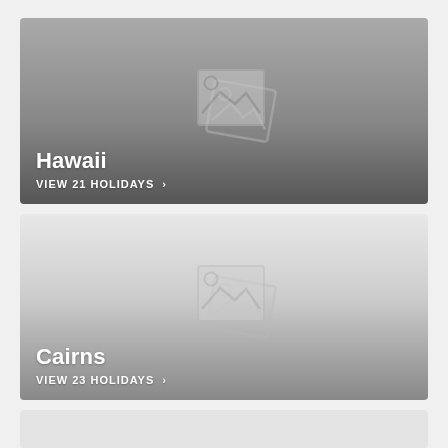[Figure (screenshot): Hawaii holiday destination card with grey placeholder image icons and text 'Hawaii' and 'VIEW 21 HOLIDAYS >']
[Figure (screenshot): Cairns holiday destination card with grey placeholder image icons and text 'Cairns' and 'VIEW 23 HOLIDAYS >']
[Figure (screenshot): Partial third card visible at bottom of page, light grey background]